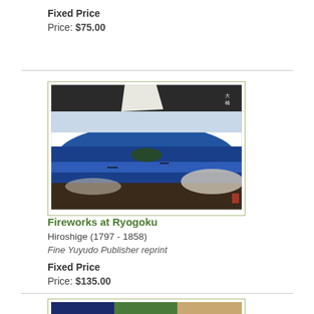Fixed Price
Price: $75.00
[Figure (photo): Japanese woodblock print showing a coastal scene with water, Mt. Fuji in background, dark sky, and boats — 'Fireworks at Ryogoku' by Hiroshige]
Fireworks at Ryogoku
Hiroshige (1797 - 1858)
Fine Yuyudo Publisher reprint
Fixed Price
Price: $135.00
[Figure (photo): Partial view of another Japanese woodblock print at the bottom of the page]